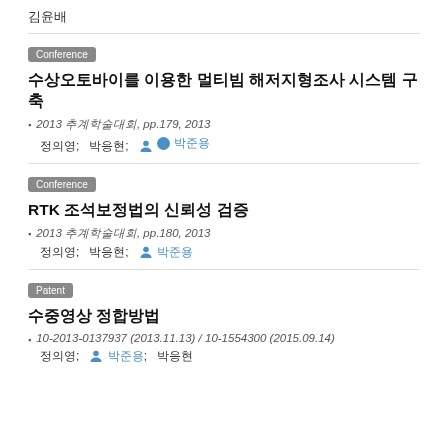김윤배
Conference
수상오토바이를 이용한 멀티빔 해저지형조사 시스템 구축
2013 추계학술대회, pp.179, 2013
정의영;  박응현;  박준용
Conference
RTK 조석보정법의 신뢰성 검증
2013 추계학술대회, pp.180, 2013
정의영;  박응현;  박준용
Patent
수중영상 정합방법
10-2013-0137937 (2013.11.13) / 10-1554300 (2015.09.14)
정의영;  박준용;  박응현